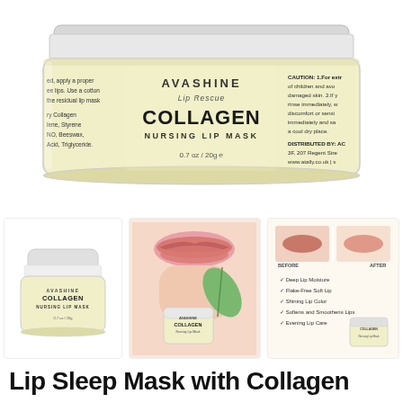[Figure (photo): Close-up of AVASHINE Lip Rescue Collagen Nursing Lip Mask jar, 0.7oz/20g, with cream/yellow label. Left side partially visible showing ingredients, right side showing caution text. Background is white.]
[Figure (photo): Small thumbnail of the AVASHINE Collagen Nursing Lip Mask jar with white lid on white background.]
[Figure (photo): Woman's face close-up with pink lips and the AVASHINE Collagen jar in foreground, green leaf in background.]
[Figure (photo): Before/after lip comparison images with bullet points: Deep Lip Moisture, Flake-Free Soft Lip, Shining Lip Color, Softens and Smoothens Lips, Evening Lip Care. AVASHINE Collagen jar shown bottom right.]
Lip Sleep Mask with Collagen